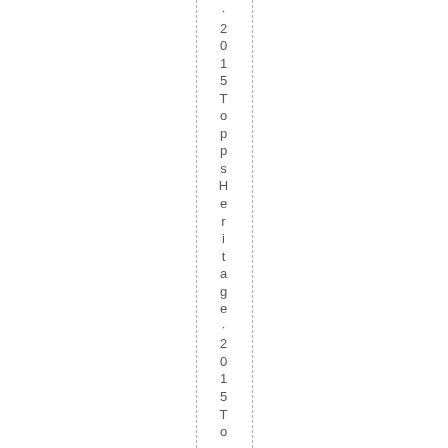· 2015 Topps Heritage · 2015 Topps T...